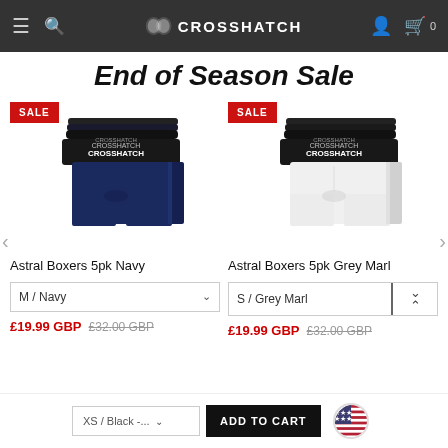CROSSHATCH — navigation header with menu, search, account, cart
End of Season Sale
[Figure (photo): Stack of 5 Crosshatch navy boxer shorts with branded waistband]
[Figure (photo): Stack of 5 Crosshatch white/grey boxer shorts with branded waistband]
Astral Boxers 5pk Navy
Astral Boxers 5pk Grey Marl
M / Navy
S / Grey Marl
£19.99 GBP  £32.00 GBP
£19.99 GBP  £32.00 GBP
XS / Black -...
ADD TO CART